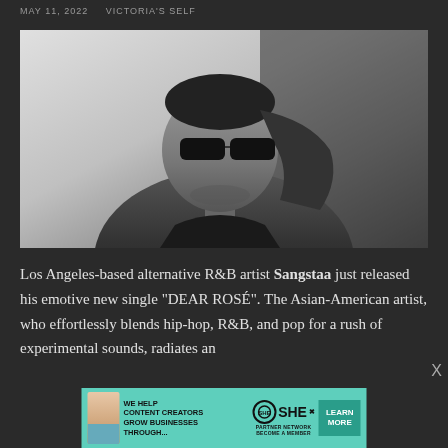MAY 11, 2022   VICTORIA'S SELF
[Figure (photo): Black and white portrait photo of Sangstaa, an Asian-American artist wearing dark sunglasses and a black turtleneck, with hair pulled back, looking to the side with a serious expression.]
Los Angeles-based alternative R&B artist Sangstaa just released his emotive new single "DEAR ROSÉ". The Asian-American artist, who effortlessly blends hip-hop, R&B, and pop for a rush of experimental sounds, radiates an
[Figure (infographic): Advertisement banner: SHE Partner Network. Text reads: 'WE HELP CONTENT CREATORS GROW BUSINESSES THROUGH...' with a logo and 'LEARN MORE' button.]